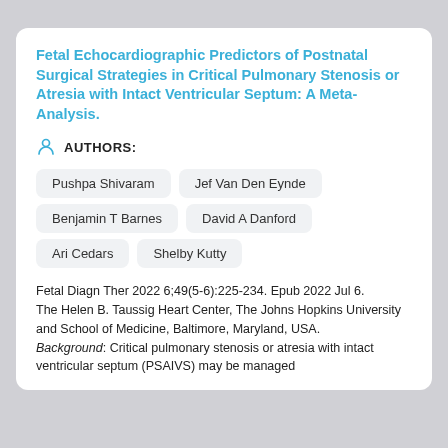Fetal Echocardiographic Predictors of Postnatal Surgical Strategies in Critical Pulmonary Stenosis or Atresia with Intact Ventricular Septum: A Meta-Analysis.
AUTHORS:
Pushpa Shivaram
Jef Van Den Eynde
Benjamin T Barnes
David A Danford
Ari Cedars
Shelby Kutty
Fetal Diagn Ther 2022 6;49(5-6):225-234. Epub 2022 Jul 6.
The Helen B. Taussig Heart Center, The Johns Hopkins University and School of Medicine, Baltimore, Maryland, USA.
Background: Critical pulmonary stenosis or atresia with intact ventricular septum (PSAIVS) may be managed